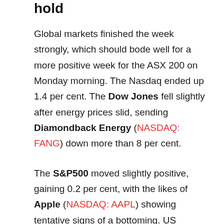hold
Global markets finished the week strongly, which should bode well for a more positive week for the ASX 200 on Monday morning. The Nasdaq ended up 1.4 per cent. The Dow Jones fell slightly after energy prices slid, sending Diamondback Energy (NASDAQ: FANG) down more than 8 per cent.
The S&P500 moved slightly positive, gaining 0.2 per cent, with the likes of Apple (NASDAQ: AAPL) showing tentative signs of a bottoming. US industrial output remained positive but continues to fall as spending tightened on the back of